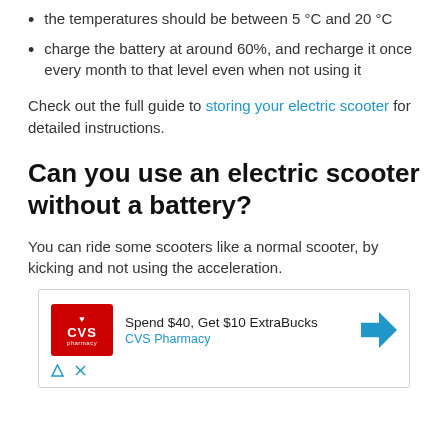the temperatures should be between 5 °C and 20 °C
charge the battery at around 60%, and recharge it once every month to that level even when not using it
Check out the full guide to storing your electric scooter for detailed instructions.
Can you use an electric scooter without a battery?
You can ride some scooters like a normal scooter, by kicking and not using the acceleration.
[Figure (screenshot): CVS Pharmacy advertisement: Spend $40, Get $10 ExtraBucks]